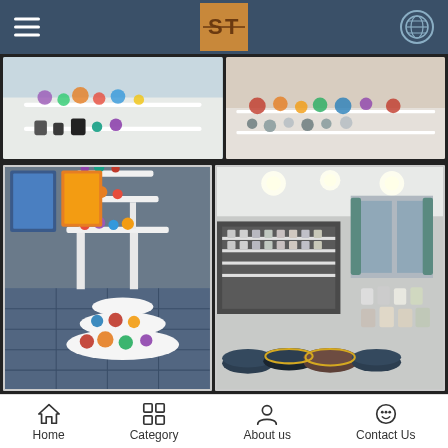Navigation bar with hamburger menu, SF logo, and globe icon
[Figure (photo): Top row: two partial cropped photos of a retail display showroom with colorful candles and glassware products on white shelving]
[Figure (photo): Bottom left: showroom interior with tiered white display stands holding colorful candles, jars, and bowls on blue carpet]
[Figure (photo): Bottom right: large showroom interior with bright lighting, rows of white shelves and tables displaying glass jars, bowls, and decorative items]
Our Own
Factory
Home  Category  About us  Contact Us